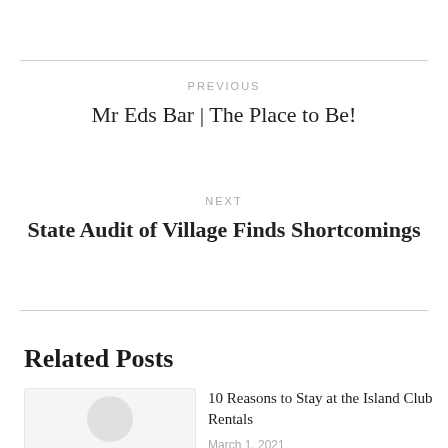PREVIOUS
Mr Eds Bar | The Place to Be!
NEXT
State Audit of Village Finds Shortcomings
Related Posts
10 Reasons to Stay at the Island Club Rentals
March 1, 2021